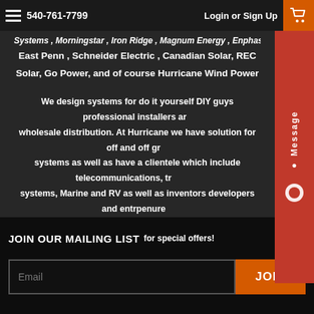540-761-7799   Login or Sign Up
Systems , Morningstar , Iron Ridge , Magnum Energy , Enphase Power, East Penn , Schneider Electric , Canadian Solar, REC Solar, Go Power,  and of course Hurricane Wind Power
We design systems for do it yourself DIY guys professional installers and wholesale distribution. At Hurricane we have solution for off and off grid systems as well as have a clientele which include telecommunications, tracking systems, Marine and RV as well as inventors developers and entrpenures. Basically wherever there is a need for power we provide solutions. Give us a call you will be glad you did.
Message
JOIN OUR MAILING LIST for special offers!
Email